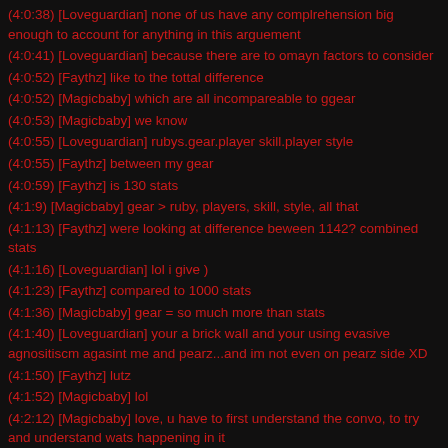(4:0:38) [Loveguardian] none of us have any complrehension big enough to account for anything in this arguement
(4:0:41) [Loveguardian] because there are to omayn factors to consider
(4:0:52) [Faythz] like to the tottal difference
(4:0:52) [Magicbaby] which are all incompareable to ggear
(4:0:53) [Magicbaby] we know
(4:0:55) [Loveguardian] rubys.gear.player skill.player style
(4:0:55) [Faythz] between my gear
(4:0:59) [Faythz] is 130 stats
(4:1:9) [Magicbaby] gear > ruby, players, skill, style, all that
(4:1:13) [Faythz] were looking at difference beween 1142? combined stats
(4:1:16) [Loveguardian] lol i give )
(4:1:23) [Faythz] compared to 1000 stats
(4:1:36) [Magicbaby] gear = so much more than stats
(4:1:40) [Loveguardian] your a brick wall and your using evasive agnositiscm agasint me and pearz...and im not even on pearz side XD
(4:1:50) [Faythz] lutz
(4:1:52) [Magicbaby] lol
(4:2:12) [Magicbaby] love, u have to first understand the convo, to try and understand wats happening in it
(4:2:14) [Faythz] any lower and you get destroyed by glancing